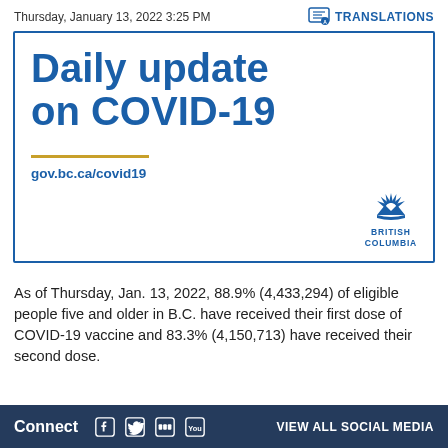Thursday, January 13, 2022 3:25 PM
[Figure (logo): BC Government TRANSLATIONS icon]
Daily update on COVID-19
gov.bc.ca/covid19
[Figure (logo): British Columbia government logo]
As of Thursday, Jan. 13, 2022, 88.9% (4,433,294) of eligible people five and older in B.C. have received their first dose of COVID-19 vaccine and 83.3% (4,150,713) have received their second dose.
Connect  VIEW ALL SOCIAL MEDIA